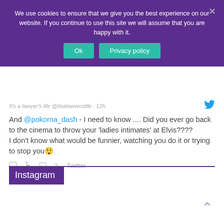We use cookies to ensure that we give you the best experience on our website. If you continue to use this site we will assume that you are happy with it.
Ok | Privacy policy
It's a lawyer's life @itsalawverslife · 12h
And @pokorna_dash - I need to know .... Did you ever go back to the cinema to throw your 'ladies intimates' at Elvis???? I don't know what would be funnier, watching you do it or trying to stop you😲
2 Twitter
Instagram